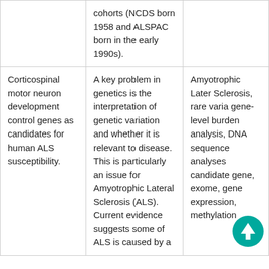|  | cohorts (NCDS born 1958 and ALSPAC born in the early 1990s). |  |
| Corticospinal motor neuron development control genes as candidates for human ALS susceptibility. | A key problem in genetics is the interpretation of genetic variation and whether it is relevant to disease. This is particularly an issue for Amyotrophic Lateral Sclerosis (ALS). Current evidence suggests some of ALS is caused by a | Amyotrophic Lateral Sclerosis, rare variant gene-level burden analysis, DNA sequence analyses candidate gene, exome, gene expression, methylation |